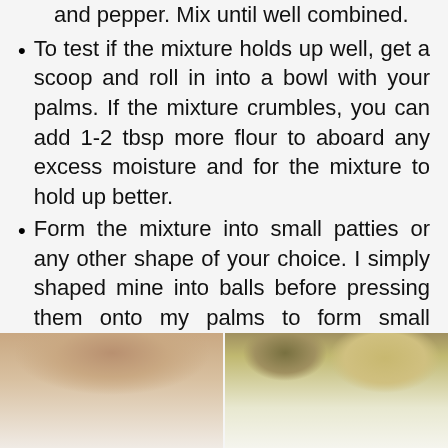and pepper. Mix until well combined.
To test if the mixture holds up well, get a scoop and roll in into a bowl with your palms. If the mixture crumbles, you can add 1-2 tbsp more flour to aboard any excess moisture and for the mixture to hold up better.
Form the mixture into small patties or any other shape of your choice. I simply shaped mine into balls before pressing them onto my palms to form small patties. You can wet your hands with some water so the mixture doesn't stick as much.
[Figure (photo): Two side-by-side food preparation photos showing ingredients in bowls]